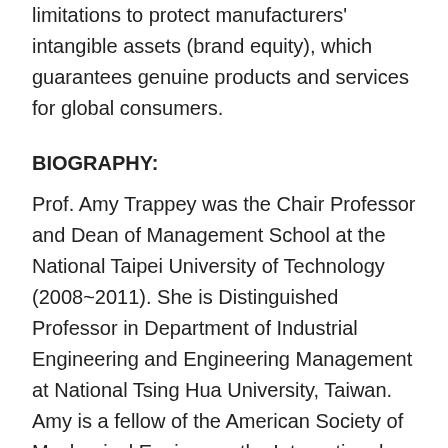limitations to protect manufacturers' intangible assets (brand equity), which guarantees genuine products and services for global consumers.
BIOGRAPHY:
Prof. Amy Trappey was the Chair Professor and Dean of Management School at the National Taipei University of Technology (2008~2011). She is Distinguished Professor in Department of Industrial Engineering and Engineering Management at National Tsing Hua University, Taiwan. Amy is a fellow of the American Society of Mechanical Engineers, the International Society of Engineering Asset Management, and the Chinese Institute of Industrial Engineers. Amy's research expertise in knowledge engineering and intelligent decision support and modeling for the fields of patent informatics, intellectual property (IP) management, and engineering asset management has received international recognition. She received research awards, e.g. MRAA